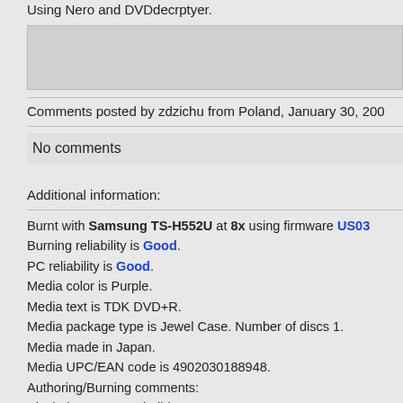Using Nero and DVDdecrptyer.
Comments posted by zdzichu from Poland, January 30, 200
No comments
Additional information:
Burnt with Samsung TS-H552U at 8x using firmware US03. Burning reliability is Good. PC reliability is Good. Media color is Purple. Media text is TDK DVD+R. Media package type is Jewel Case. Number of discs 1. Media made in Japan. Media UPC/EAN code is 4902030188948. Authoring/Burning comments: Alcohol 120% 1.9.2 build 1705